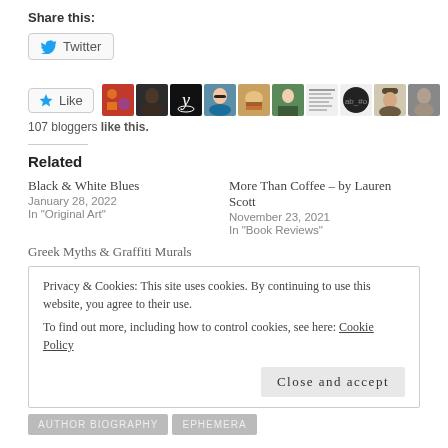Share this:
[Figure (screenshot): Twitter share button]
[Figure (screenshot): Like button with star icon, followed by a strip of 9 blogger avatar thumbnails]
107 bloggers like this.
Related
Black & White Blues
January 28, 2022
In "Original Art"
More Than Coffee – by Lauren Scott
November 23, 2021
In "Book Reviews"
Greek Myths & Graffiti Murals
Privacy & Cookies: This site uses cookies. By continuing to use this website, you agree to their use.
To find out more, including how to control cookies, see here: Cookie Policy
Close and accept